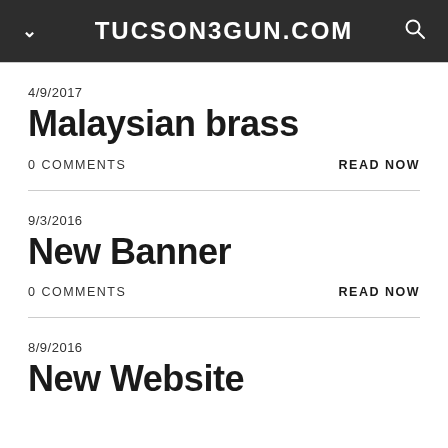TUCSON3GUN.COM
4/9/2017
Malaysian brass
0 COMMENTS
READ NOW
9/3/2016
New Banner
0 COMMENTS
READ NOW
8/9/2016
New Website